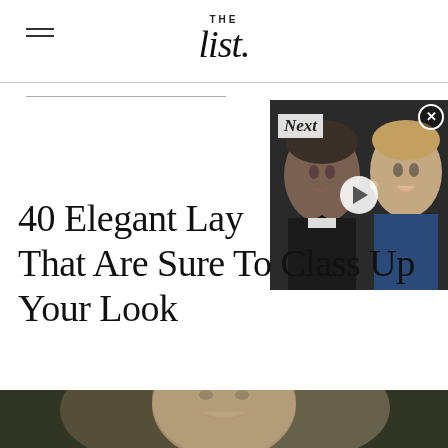THE list.
[Figure (screenshot): Video overlay thumbnail showing two people (man in tuxedo and woman smiling) with a play button, labeled 'Next']
40 Elegant Lay... That Are Sure To Class Up Your Look
[Figure (photo): Close-up photo of a smiling woman with long brown hair, partially visible at bottom of page]